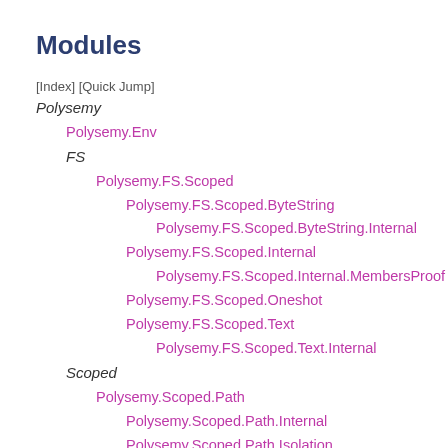Modules
[Index] [Quick Jump]
Polysemy
Polysemy.Env
FS
Polysemy.FS.Scoped
Polysemy.FS.Scoped.ByteString
Polysemy.FS.Scoped.ByteString.Internal
Polysemy.FS.Scoped.Internal
Polysemy.FS.Scoped.Internal.MembersProof
Polysemy.FS.Scoped.Oneshot
Polysemy.FS.Scoped.Text
Polysemy.FS.Scoped.Text.Internal
Scoped
Polysemy.Scoped.Path
Polysemy.Scoped.Path.Internal
Polysemy.Scoped.Path.Isolation